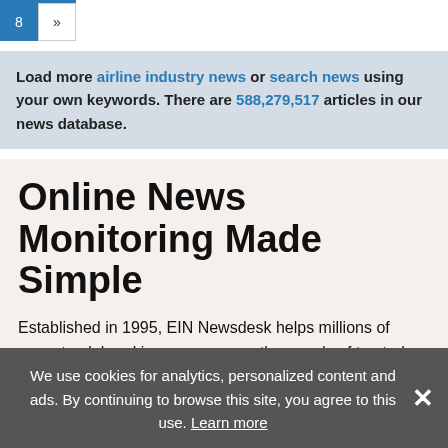8 »
Load more airline industry news or search news using your own keywords. There are 588,279,517 articles in our news database.
Online News Monitoring Made Simple
Established in 1995, EIN Newsdesk helps millions of users track breaking news across thousands of trusted websites. Users may set up custom email newsletters and RSS feeds or search among thousands of preset news sections. As a member, you may also submit your own news using the EIN Presswire distribution service.
We use cookies for analytics, personalized content and ads. By continuing to browse this site, you agree to this use. Learn more